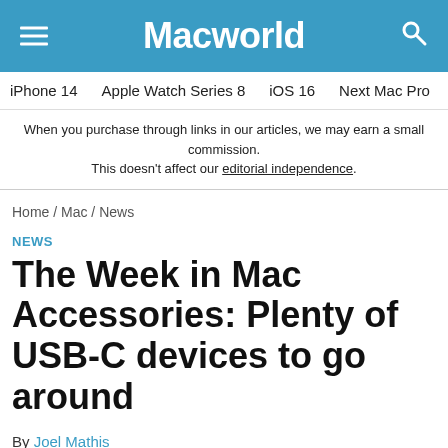Macworld
iPhone 14 / Apple Watch Series 8 / iOS 16 / Next Mac Pro / iPhone d
When you purchase through links in our articles, we may earn a small commission. This doesn't affect our editorial independence.
Home / Mac / News
NEWS
The Week in Mac Accessories: Plenty of USB-C devices to go around
By Joel Mathis
Macworld | JUL 5, 2016 7:00 AM PDT